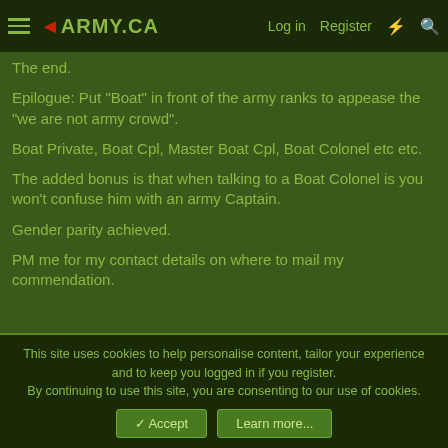ARMY.CA | Log in | Register
The end.
Epilogue: Put "Boat" in front of the army ranks to appease the "we are not army crowd".
Boat Private, Boat Cpl, Master Boat Cpl, Boat Colonel etc etc.
The added bonus is that when talking to a Boat Colonel is you won't confuse him with an army Captain.
Gender parity achieved.
PM me for my contact details on where to mail my commendation.
This site uses cookies to help personalise content, tailor your experience and to keep you logged in if you register. By continuing to use this site, you are consenting to our use of cookies.